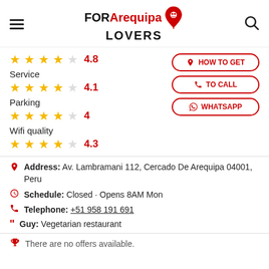FORArequipa LOVERS
4.8
Service
4.1
Parking
4
Wifi quality
4.3
Address: Av. Lambramani 112, Cercado De Arequipa 04001, Peru
Schedule: Closed · Opens 8AM Mon
Telephone: +51 958 191 691
Guy: Vegetarian restaurant
There are no offers available.